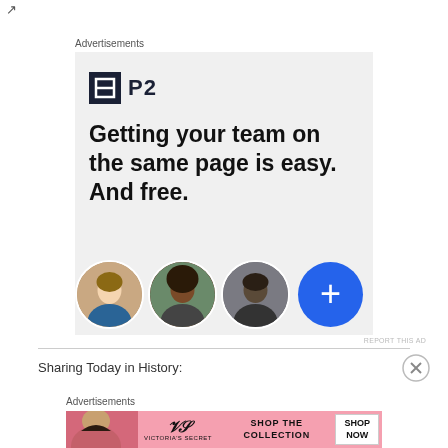[Figure (other): P2 advertisement banner with logo, headline 'Getting your team on the same page is easy. And free.' and three circular profile photos plus a blue plus button]
Sharing Today in History:
[Figure (other): Victoria's Secret advertisement banner showing model, VS logo, 'SHOP THE COLLECTION' text and 'SHOP NOW' button]